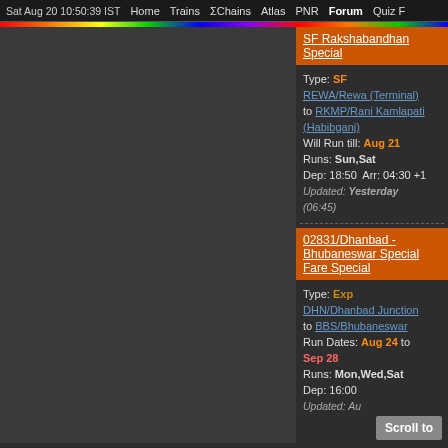Sat Aug 20 10:50:39 IST  Home  Trains  ΣChains  Atlas  PNR  Forum  Quiz F
SF Rakshabandhan Special
Type: SF
REWA/Rewa (Terminal) to RKMP/Rani Kamlapati (Habibganj)
Will Run till: Aug 21
Runs: Sun,Sat
Dep: 18:50  Arr: 04:30 +1
Updated: Yesterday (06:45)
02831/Dhanbad - Bhubaneswar Special Fare Special
Type: Exp
DHN/Dhanbad Junction to BBS/Bhubaneswar
Run Dates: Aug 24 to Sep 28
Runs: Mon,Wed,Sat
Dep: 16:00
Updated: Au